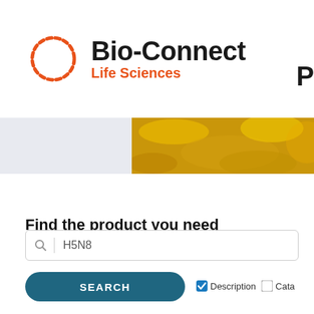[Figure (logo): Bio-Connect Life Sciences logo with orange dashed circle icon on the left, bold black 'Bio-Connect' text and orange 'Life Sciences' subtitle]
[Figure (photo): Yellow/golden textured background banner strip on the right side, appears to be a close-up of a biological or food material]
Find the product you need
H5N8
SEARCH
Description
Cata